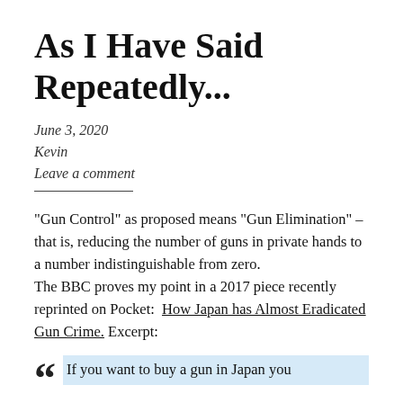As I Have Said Repeatedly...
June 3, 2020
Kevin
Leave a comment
“Gun Control” as proposed means “Gun Elimination” – that is, reducing the number of guns in private hands to a number indistinguishable from zero.
The BBC proves my point in a 2017 piece recently reprinted on Pocket:  How Japan has Almost Eradicated Gun Crime. Excerpt:
If you want to buy a gun in Japan you